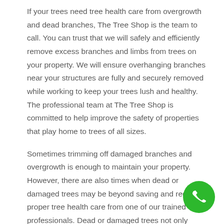If your trees need tree health care from overgrowth and dead branches, The Tree Shop is the team to call. You can trust that we will safely and efficiently remove excess branches and limbs from trees on your property. We will ensure overhanging branches near your structures are fully and securely removed while working to keep your trees lush and healthy. The professional team at The Tree Shop is committed to help improve the safety of properties that play home to trees of all sizes.
Sometimes trimming off damaged branches and overgrowth is enough to maintain your property. However, there are also times when dead or damaged trees may be beyond saving and require proper tree health care from one of our trained professionals. Dead or damaged trees not only negatively affect the appearance of yo...
[Figure (other): Green circular phone call button with white telephone handset icon]